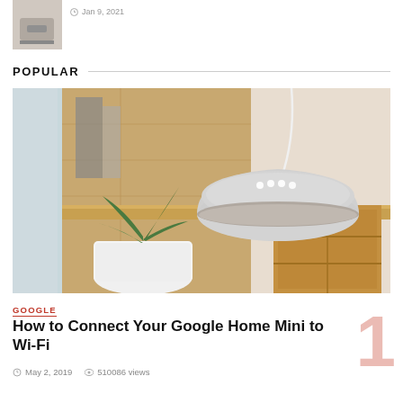[Figure (photo): Small smart speaker thumbnail image (partially visible at top)]
Jan 9, 2021
POPULAR
[Figure (photo): Google Home Mini smart speaker sitting on a wooden shelf/crate next to a plant, indoor home setting]
GOOGLE
How to Connect Your Google Home Mini to Wi-Fi
May 2, 2019  510086 views